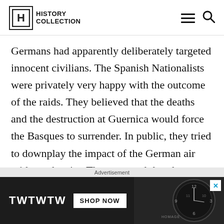HISTORY COLLECTION
Germans had apparently deliberately targeted innocent civilians. The Spanish Nationalists were privately very happy with the outcome of the raids. They believed that the deaths and the destruction at Guernica would force the Basques to surrender. In public, they tried to downplay the impact of the German air raids on the city. They asserted that the reports of civilian deaths and
Advertisement
[Figure (photo): Advertisement banner showing 'TWTWTW SHOP NOW' text with a watch face in the background and a close button in the top-right corner.]